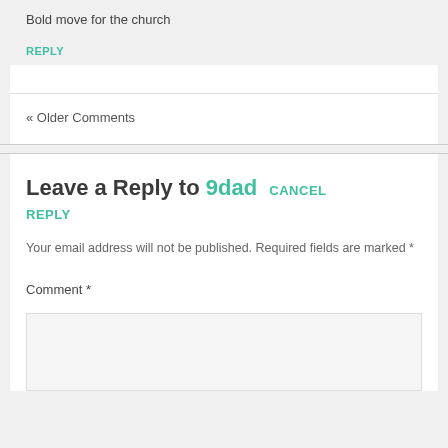Bold move for the church
REPLY
« Older Comments
Leave a Reply to 9dad CANCEL REPLY
Your email address will not be published. Required fields are marked *
Comment *